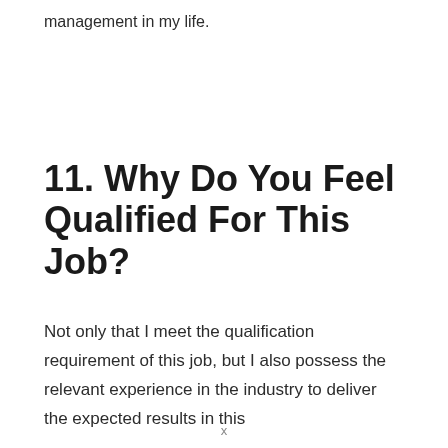management in my life.
11. Why Do You Feel Qualified For This Job?
Not only that I meet the qualification requirement of this job, but I also possess the relevant experience in the industry to deliver the expected results in this
x